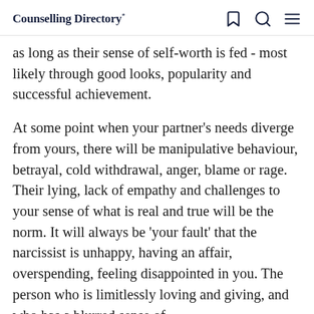Counselling Directory
as long as their sense of self-worth is fed - most likely through good looks, popularity and successful achievement.
At some point when your partner’s needs diverge from yours, there will be manipulative behaviour, betrayal, cold withdrawal, anger, blame or rage. Their lying, lack of empathy and challenges to your sense of what is real and true will be the norm. It will always be ‘your fault’ that the narcissist is unhappy, having an affair, overspending, feeling disappointed in you. The person who is limitlessly loving and giving, and who has a blurred sense of